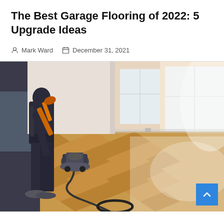The Best Garage Flooring of 2022: 5 Upgrade Ideas
Mark Ward   December 31, 2021
[Figure (photo): A worker using a floor polishing/buffing machine on a herringbone pattern hardwood floor in a bright room with large windows. The worker is wearing dark work clothes and the machine has an orange handle. A cord is visible on the floor in the foreground.]